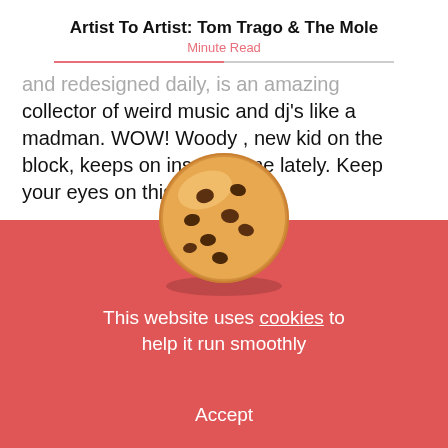Artist To Artist: Tom Trago & The Mole
Minute Read
...and redesigned daily, is an amazing collector of weird music and dj's like a madman. WOW! Woody , new kid on the block, keeps on inspiring me lately. Keep your eyes on this one!
What will we be doing in 15 years ?
[Figure (illustration): Cookie emoji (chocolate chip cookie) overlaid on a red cookie consent banner]
This website uses cookies to help it run smoothly
Accept